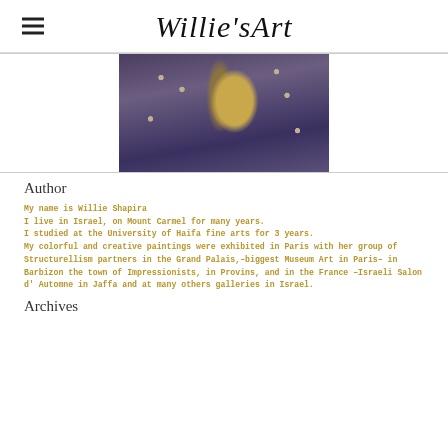Willie'sArt
[Figure (photo): Close-up artwork painting with blue/purple swirling patterns and gold/amber central feather-like shapes with dotted circular motifs]
Author
My name is Willie Shapira
I live in Israel, on Mount Carmel for many years.
I studied at the University of Haifa fine arts for 3 years.
My colorful and creative paintings were exhibited in Paris with her group of Structurellism partners in the Grand Palais,–biggest Museum Art in Paris– in Barbizon the town of Impressionists, in Provins, and in the France –Israeli Salon d' Automne in Jaffa and at many others galleries in Israel.
Archives